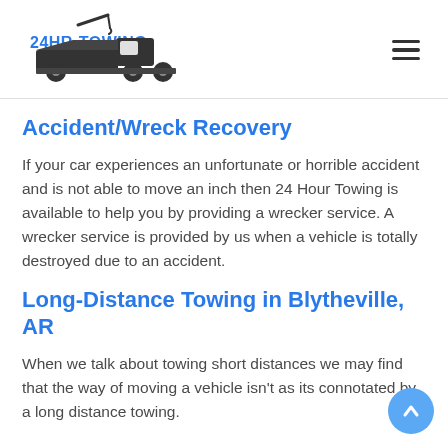[Figure (logo): 24HR-TOWING logo with a tow truck icon and blue text reading '24HR-TOWING']
Accident/Wreck Recovery
If your car experiences an unfortunate or horrible accident and is not able to move an inch then 24 Hour Towing is available to help you by providing a wrecker service. A wrecker service is provided by us when a vehicle is totally destroyed due to an accident.
Long-Distance Towing in Blytheville, AR
When we talk about towing short distances we may find that the way of moving a vehicle isn't as its connotated by a long distance towing.